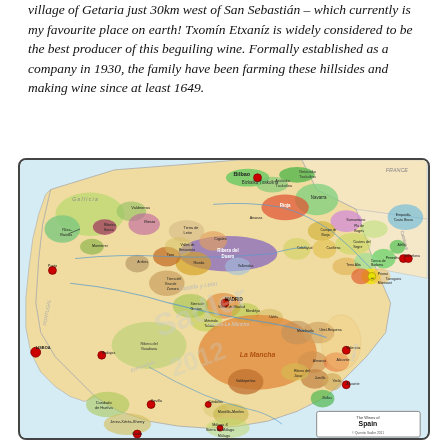village of Getaria just 30km west of San Sebastián – which currently is my favourite place on earth! Txomín Etxaníz is widely considered to be the best producer of this beguiling wine. Formally established as a company in 1930, the family have been farming these hillsides and making wine since at least 1649.
[Figure (map): Map of the wine regions of Spain, showing labeled regions including Bizkaiko Txakolina, Getariako Txakolina, Arabako Txakolina, Navarra, Rioja, Ribera del Duero, Rueda, Toro, Bierzo, Valdeorras, Rias Baixas, Ribeira Sacra, Monterrei, Valliendas, Cigales, Arribes, Calatayud, Campo de Borja, Cariñena, Somontano, Empordà-Costa Brava, Pla de Bages, Alella, Barcelona, Penedés, Conca de Barbera, Priorat, Montsant, Tarragona, Terra Alta, Costers del Segre, La Mancha, Mentrida/Toledo, Vinos de Madrid, Mondéjar, Uclés, Manchuela, Utiel-Requena, Valencia, Almansa, Jumilla, Yecla, Alicante, Bullas, Ribera del Júcar, Valdepeñas, Ribera del Guadiana, Extremadura, Badajoz, Condado de Huelva, Sevilla, Jerez-Xérès-Sherry, Cádiz, Montilla-Moriles, Córdoba, Málaga & Sierra de Málaga, Málaga. Cities marked include Porto, LISBOA, MADRID, Barcelona, Valencia, Bilbao, Alicante, Sevilla, Cádiz. Watermark: Sadler 2012. Legend: The Wines of Spain © Quentin Sadler 2011.]